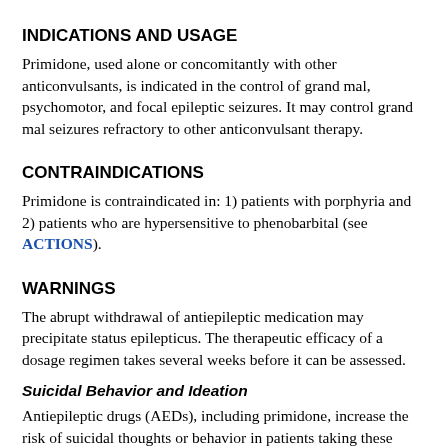INDICATIONS AND USAGE
Primidone, used alone or concomitantly with other anticonvulsants, is indicated in the control of grand mal, psychomotor, and focal epileptic seizures. It may control grand mal seizures refractory to other anticonvulsant therapy.
CONTRAINDICATIONS
Primidone is contraindicated in: 1) patients with porphyria and 2) patients who are hypersensitive to phenobarbital (see ACTIONS).
WARNINGS
The abrupt withdrawal of antiepileptic medication may precipitate status epilepticus. The therapeutic efficacy of a dosage regimen takes several weeks before it can be assessed.
Suicidal Behavior and Ideation
Antiepileptic drugs (AEDs), including primidone, increase the risk of suicidal thoughts or behavior in patients taking these drugs for any indication. Patients treated with any AED for any indication should be monitored for the emergence or worsening of depression, suicidal thoughts or behavior, and/or any unusual changes in mood or behavior.